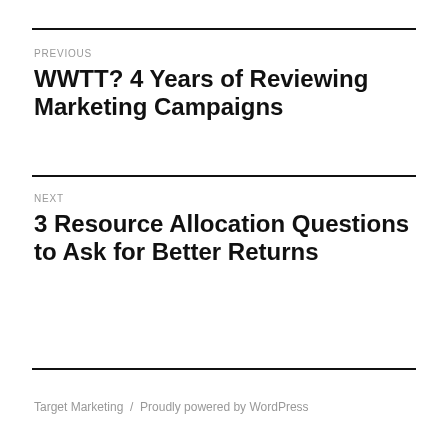PREVIOUS
WWTT? 4 Years of Reviewing Marketing Campaigns
NEXT
3 Resource Allocation Questions to Ask for Better Returns
Target Marketing / Proudly powered by WordPress